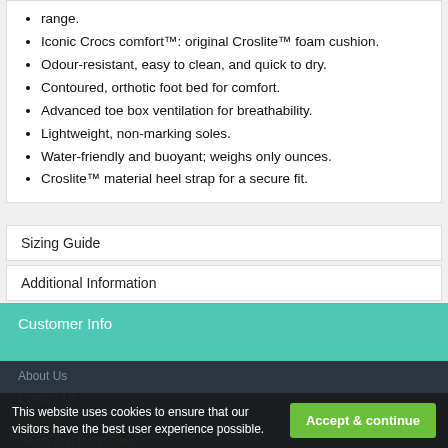range.
Iconic Crocs comfort™: original Croslite™ foam cushion.
Odour-resistant, easy to clean, and quick to dry.
Contoured, orthotic foot bed for comfort.
Advanced toe box ventilation for breathability.
Lightweight, non-marking soles.
Water-friendly and buoyant; weighs only ounces.
Croslite™ material heel strap for a secure fit.
Sizing Guide
Additional Information
Customer Info
About Us
Contact Us
Returns
Terms and Conditions
This website uses cookies to ensure that our visitors have the best user experience possible.
Accept & continue